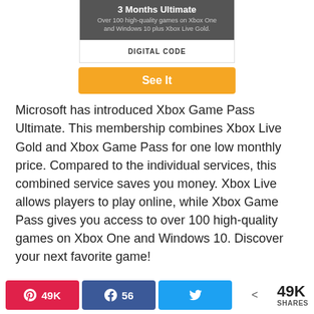[Figure (screenshot): Xbox Game Pass Ultimate 3 Months product card with dark header showing '3 Months Ultimate' and subtitle 'Over 100 high-quality games on Xbox One and Windows 10 plus Xbox Live Gold.' and a DIGITAL CODE label beneath]
[Figure (other): Orange 'See It' button]
Microsoft has introduced Xbox Game Pass Ultimate. This membership combines Xbox Live Gold and Xbox Game Pass for one low monthly price. Compared to the individual services, this combined service saves you money. Xbox Live allows players to play online, while Xbox Game Pass gives you access to over 100 high-quality games on Xbox One and Windows 10. Discover your next favorite game!
Pinterest 49K | Facebook 56 | Twitter | < 49K SHARES